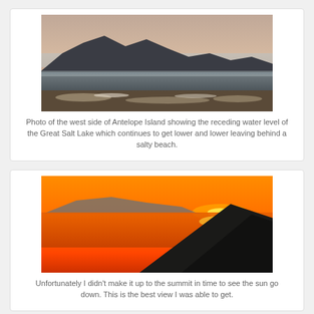[Figure (photo): Photo of the west side of Antelope Island showing mountains and the receding water level of the Great Salt Lake with a salty beach in the foreground, taken at dusk/dawn with muted colors.]
Photo of the west side of Antelope Island showing the receding water level of the Great Salt Lake which continues to get lower and lower leaving behind a salty beach.
[Figure (photo): Sunset photo over the Great Salt Lake from Antelope Island showing vivid orange sky reflected on calm water with dark hillside silhouette in the foreground.]
Unfortunately I didn't make it up to the summit in time to see the sun go down.  This is the best view I was able to get.
[Figure (photo): Partial photo of the moon surface showing craters, partially cut off at bottom of page.]